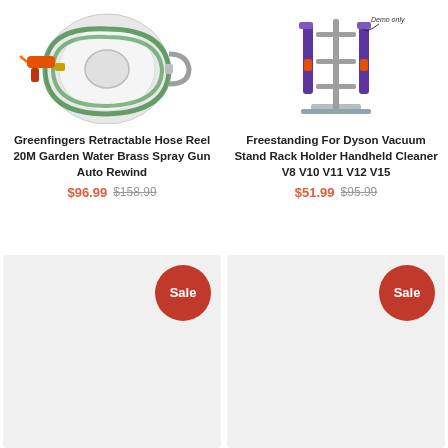[Figure (photo): Greenfingers retractable hose reel product image showing green hose reel with orange spray gun]
Greenfingers Retractable Hose Reel 20M Garden Water Brass Spray Gun Auto Rewind
$96.99 $158.99
[Figure (photo): Freestanding Dyson Vacuum Stand Rack with vacuum cleaners mounted, Demo only label visible]
Freestanding For Dyson Vacuum Stand Rack Holder Handheld Cleaner V8 V10 V11 V12 V15
$51.99 $95.99
[Figure (photo): Product card with Sale badge, bottom left, light gray background, no product image visible]
[Figure (photo): Product card with Sale badge, bottom right, light gray background, no product image visible]